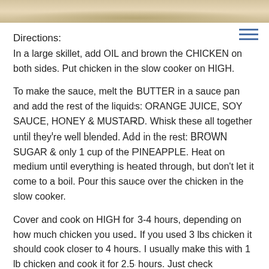[Figure (photo): Top partial photo strip showing a wooden surface or bowl with food, cream/tan colored background]
Directions:
In a large skillet, add OIL and brown the CHICKEN on both sides. Put chicken in the slow cooker on HIGH.
To make the sauce, melt the BUTTER in a sauce pan and add the rest of the liquids: ORANGE JUICE, SOY SAUCE, HONEY & MUSTARD. Whisk these all together until they're well blended. Add in the rest: BROWN SUGAR & only 1 cup of the PINEAPPLE. Heat on medium until everything is heated through, but don't let it come to a boil. Pour this sauce over the chicken in the slow cooker.
Cover and cook on HIGH for 3-4 hours, depending on how much chicken you used. If you used 3 lbs chicken it should cook closer to 4 hours. I usually make this with 1 lb chicken and cook it for 2.5 hours. Just check the chicken in the thickest part for doneness.